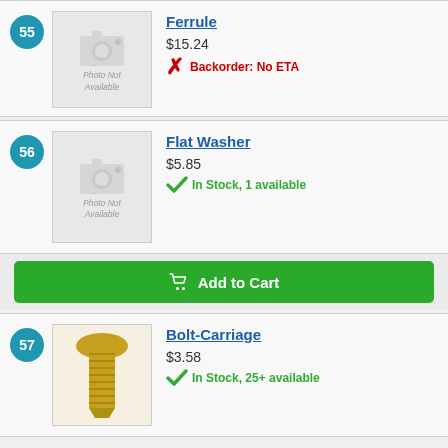55 Ferrule $15.24 Backorder: No ETA
56 Flat Washer $5.85 In Stock, 1 available
57 Bolt-Carriage $3.58 In Stock, 25+ available